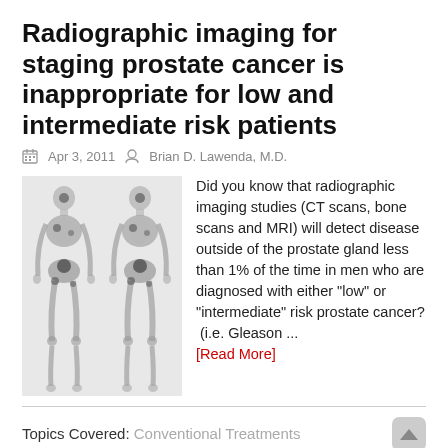Radiographic imaging for staging prostate cancer is inappropriate for low and intermediate risk patients
Apr 3, 2011   Brian D. Lawenda, M.D.
[Figure (photo): Bone scan images showing two skeletal views (anterior and posterior) of the human body used in prostate cancer staging]
Did you know that radiographic imaging studies (CT scans, bone scans and MRI) will detect disease outside of the prostate gland less than 1% of the time in men who are diagnosed with either "low" or "intermediate" risk prostate cancer? (i.e. Gleason ... [Read More]
Topics Covered: Conventional Treatments